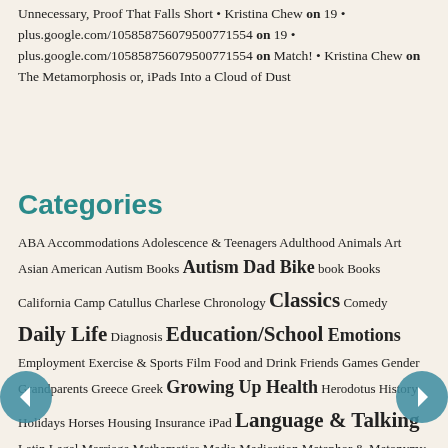Unnecessary, Proof That Falls Short • Kristina Chew on 19 • plus.google.com/105858756079500771554 on 19 • plus.google.com/105858756079500771554 on Match! • Kristina Chew on The Metamorphosis or, iPads Into a Cloud of Dust
Categories
ABA Accommodations Adolescence & Teenagers Adulthood Animals Art Asian American Autism Books Autism Dad Bike book Books California Camp Catullus Charlese Chronology Classics Comedy Daily Life Diagnosis Education/School Emotions Employment Exercise & Sports Film Food and Drink Friends Games Gender Grandparents Greece Greek Growing Up Health Herodotus History Holidays Horses Housing Insurance iPad Language & Talking Latin Legal Marriage Mathematics Media Medication Metaphor & Metonymy Minnesota Missouri Money Motherhood Music My Teaching/Job Nature New Jersey NJ/NY OCD Ocean Philadelphia Piano Poetry Politics & Advocacy Religion San Francisco Science Sensory Sleep (or the lack of it) Strategies Swimming Television Things